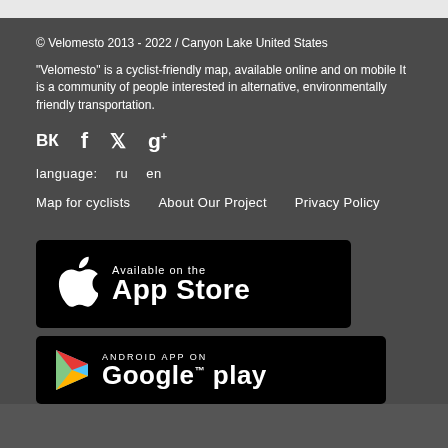© Velomesto 2013 - 2022 / Canyon Lake United States
"Velomesto" is a cyclist-friendly map, available online and on mobile It is a community of people interested in alternative, environmentally friendly transportation.
[Figure (infographic): Social media icons: VK, Facebook, Twitter, Google+]
language:   ru   en
Map for cyclists   About Our Project   Privacy Policy
[Figure (infographic): App Store badge - Available on the App Store]
[Figure (infographic): Google Play badge - Android App On Google Play]